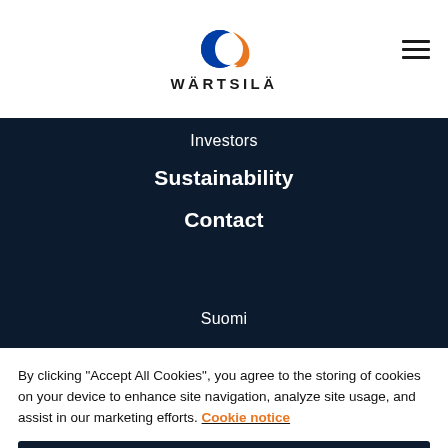[Figure (logo): Wärtsilä logo with blue and orange circular icon above the text WÄRTSILÄ in bold uppercase with wide letter spacing]
Investors
Sustainability
Contact
Suomi
By clicking "Accept All Cookies", you agree to the storing of cookies on your device to enhance site navigation, analyze site usage, and assist in our marketing efforts. Cookie notice
Accept all cookies
Cookies settings